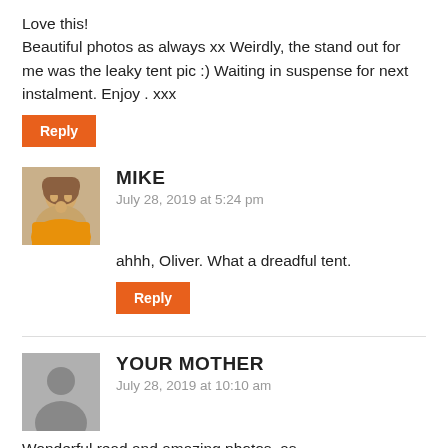Love this!
Beautiful photos as always xx Weirdly, the stand out for me was the leaky tent pic :) Waiting in suspense for next instalment. Enjoy . xxx
Reply
MIKE
July 28, 2019 at 5:24 pm
ahhh, Oliver. What a dreadful tent.
Reply
YOUR MOTHER
July 28, 2019 at 10:10 am
Wonderful read and amazing photos, as